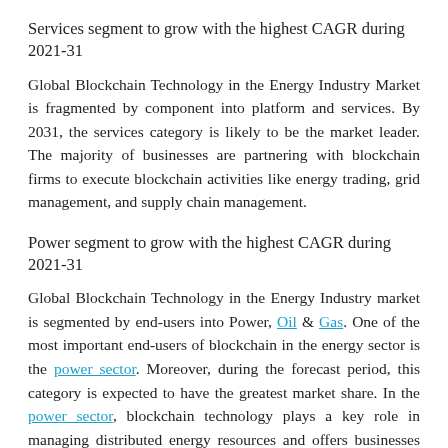Services segment to grow with the highest CAGR during 2021-31
Global Blockchain Technology in the Energy Industry Market is fragmented by component into platform and services. By 2031, the services category is likely to be the market leader. The majority of businesses are partnering with blockchain firms to execute blockchain activities like energy trading, grid management, and supply chain management.
Power segment to grow with the highest CAGR during 2021-31
Global Blockchain Technology in the Energy Industry market is segmented by end-users into Power, Oil & Gas. One of the most important end-users of blockchain in the energy sector is the power sector. Moreover, during the forecast period, this category is expected to have the greatest market share. In the power sector, blockchain technology plays a key role in managing distributed energy resources and offers businesses more cost-effective and efficient ways to collect and process transactional data. Furthermore, the power sector has the greatest number of blockchain-based energy initiatives and R&D